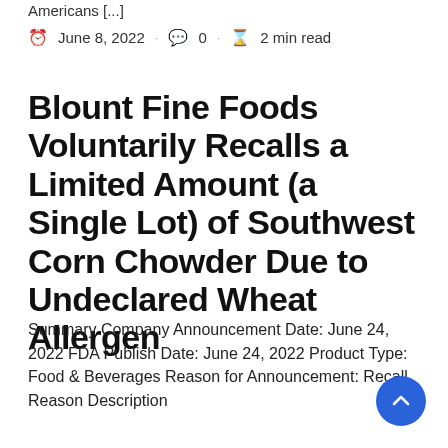Americans [...]
⏱ June 8, 2022 · 💬 0 · ⏳ 2 min read
Blount Fine Foods Voluntarily Recalls a Limited Amount (a Single Lot) of Southwest Corn Chowder Due to Undeclared Wheat Allergen
Summary Company Announcement Date: June 24, 2022 FDA Publish Date: June 24, 2022 Product Type: Food & Beverages Reason for Announcement: Recall Reason Description